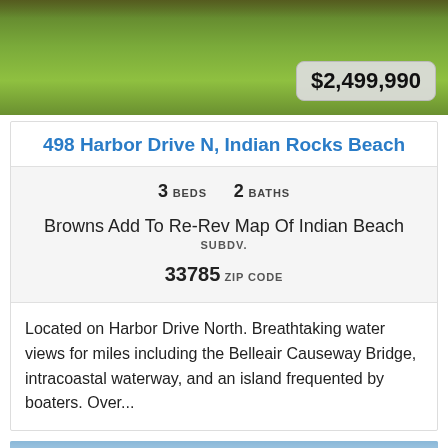[Figure (photo): Exterior photo of property showing green lawn and grass area with price badge overlay showing $2,499,990]
498 Harbor Drive N, Indian Rocks Beach
3 BEDS   2 BATHS
Browns Add To Re-Rev Map Of Indian Beach SUBDV.
33785 ZIP CODE
Located on Harbor Drive North. Breathtaking water views for miles including the Belleair Causeway Bridge, intracoastal waterway, and an island frequented by boaters. Over...
[Figure (photo): Partial exterior photo at bottom of page, showing sky/water scene]